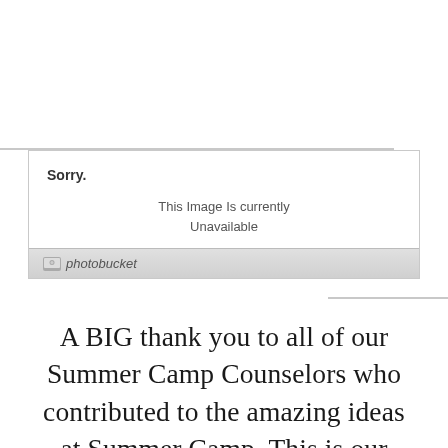[Figure (screenshot): Photobucket placeholder image showing 'Sorry. This Image Is currently Unavailable' with photobucket logo footer]
A BIG thank you to all of our Summer Camp Counselors who contributed to the amazing ideas at Summer Camp. This is our last day of our Summer Camp 2013. Please click on the  banner to be taken to our awesome Summer Camp series for the past couple of years.